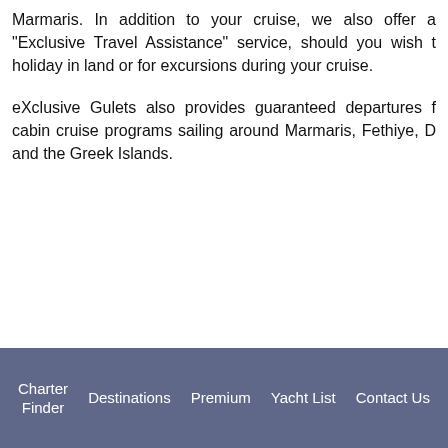Marmaris. In addition to your cruise, we also offer a "Exclusive Travel Assistance" service, should you wish to holiday in land or for excursions during your cruise.
eXclusive Gulets also provides guaranteed departures for cabin cruise programs sailing around Marmaris, Fethiye, D and the Greek Islands.
Charter Finder   Destinations   Premium   Yacht List   Contact Us